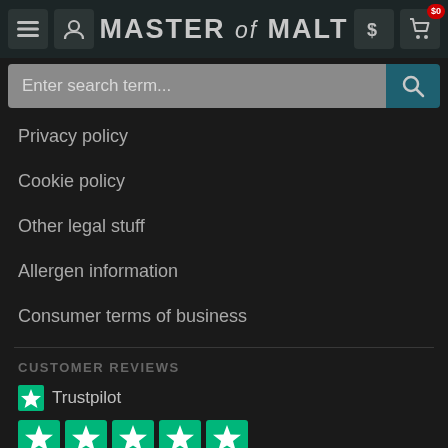MASTER of MALT
Privacy policy
Cookie policy
Other legal stuff
Allergen information
Consumer terms of business
CUSTOMER REVIEWS
[Figure (logo): Trustpilot logo with green star and Trustpilot text]
[Figure (infographic): Five green star rating boxes for Trustpilot]
Trust score 4.9
See our 32,972 reviews